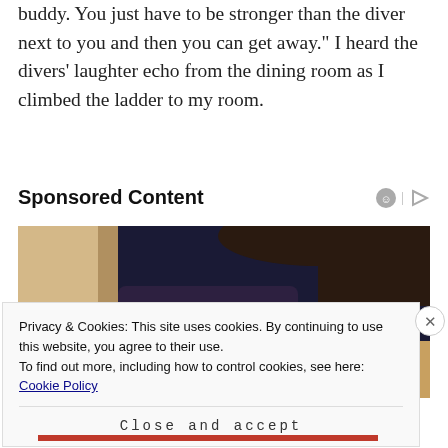buddy. You just have to be stronger than the diver next to you and then you can get away.” I heard the divers’ laughter echo from the dining room as I climbed the ladder to my room.
Sponsored Content
[Figure (photo): A woman in a dark outfit leaning over a desk with papers, laptop, and tablet]
Privacy & Cookies: This site uses cookies. By continuing to use this website, you agree to their use.
To find out more, including how to control cookies, see here: Cookie Policy
Close and accept